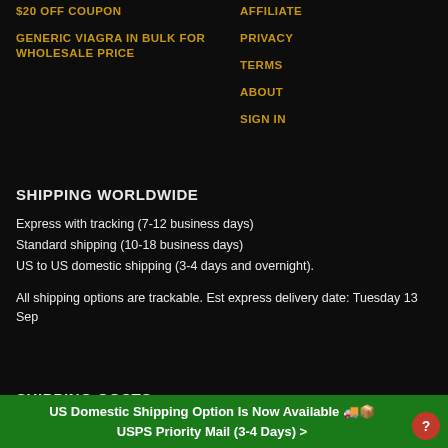$20 OFF COUPON
GENERIC VIAGRA IN BULK FOR WHOLESALE PRICE
AFFILIATE
PRIVACY
TERMS
ABOUT
SIGN IN
SHIPPING WORLDWIDE
Express with tracking (7-12 business days)
Standard shipping (10-18 business days)
US to US domestic shipping (3-4 days and overnight).
All shipping options are trackable. Est express delivery date: Tuesday 13 Sep
SHIPPING COSTS
US Domestic Shipping Option Is Now Available 🚚📦 USPS Priority Mail (3-4 Days) >